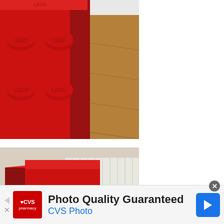[Figure (photo): Close-up photo of a large red LEGO brick toy/storage item with circular LEGO-branded studs on the side, placed on a wooden floor]
[Figure (photo): Photo of a red LEGO-shaped cabinet/furniture piece viewed from above and side, showing an open cubby hole, placed near a white radiator]
[Figure (screenshot): Advertisement banner at the bottom: CVS Pharmacy logo with heart, text 'Photo Quality Guaranteed' and 'CVS Photo' in blue, navigation arrow icon, and close button]